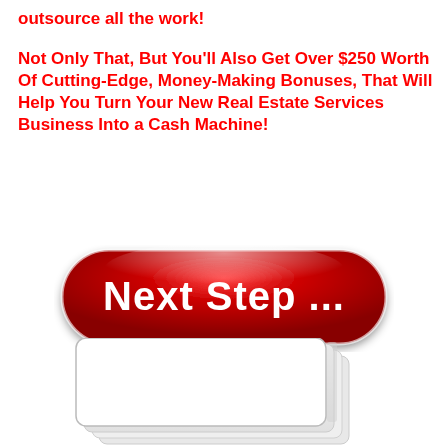outsource all the work!
Not Only That, But You'll Also Get Over $250 Worth Of Cutting-Edge, Money-Making Bonuses, That Will Help You Turn Your New Real Estate Services Business Into a Cash Machine!
[Figure (illustration): Red glossy pill-shaped button with white text reading 'Next Step ...']
[Figure (illustration): Bottom portion of pages/booklet visible at the bottom of the image, white with gray shadow edges]